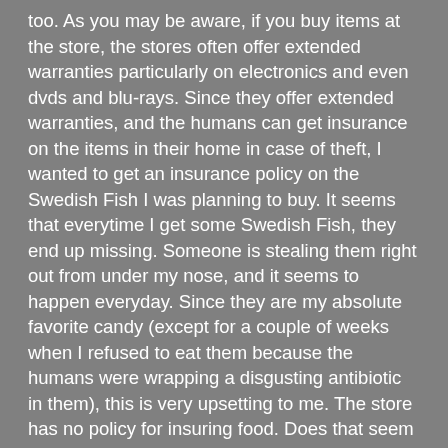too. As you may be aware, if you buy items at the store, the stores often offer extended warranties particularly on electronics and even dvds and blu-rays. Since they offer extended warranties, and the humans can get insurance on the items in their home in case of theft, I wanted to get an insurance policy on the Swedish Fish I was planning to buy. It seems that everytime I get some Swedish Fish, they end up missing. Someone is stealing them right out from under my nose, and it seems to happen everyday. Since they are my absolute favorite candy (except for a couple of weeks when I refused to eat them because the humans were wrapping a disgusting antibiotic in them), this is very upsetting to me. The store has no policy for insuring food. Does that seem fair to you? The most valuable thing anyone can buy, and there is no insurance for it. You can insure your television set, and if you ask my opinion, it is very useless. It isn't like you can eat it, and even if you could, I doubt that it would taste good. I think the government should get involved in this so I have written my congresshuman (yes, we know it should be a congressdog, but it isn't), and I am going to share that letter with you now: Dear Congresshuman, Insurance companies should be required to insure a dog's